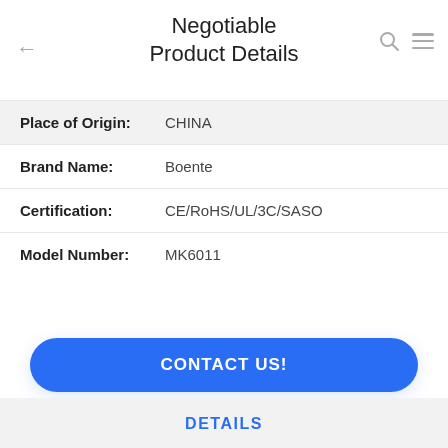Negotiable Product Details
Place of Origin: CHINA
Brand Name: Boente
Certification: CE/RoHS/UL/3C/SASO
Model Number: MK6011
CONTACT US!
DETAILS
Similar Products
13A Conference Table